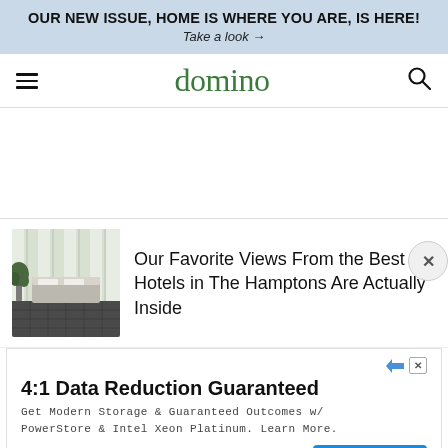OUR NEW ISSUE, HOME IS WHERE YOU ARE, IS HERE!
Take a look →
domino
[Figure (screenshot): Large white empty area below navigation bar (content loading placeholder)]
[Figure (photo): Thumbnail photo of a hotel room interior with white walls, furniture and dark tile floor in The Hamptons]
Our Favorite Views From the Best Hotels in The Hamptons Are Actually Inside
[Figure (screenshot): Advertisement banner: 4:1 Data Reduction Guaranteed. Get Modern Storage & Guaranteed Outcomes w/ PowerStore & Intel Xeon Platinum. Learn More. Dell Technologies.]